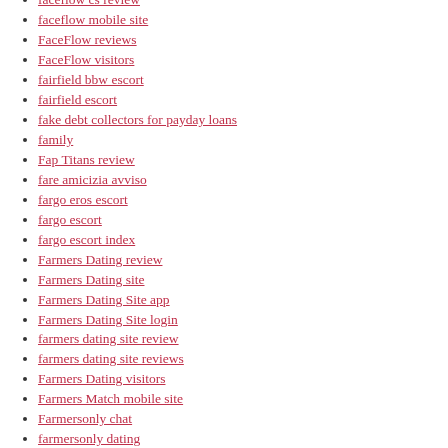faceflow cs review
faceflow mobile site
FaceFlow reviews
FaceFlow visitors
fairfield bbw escort
fairfield escort
fake debt collectors for payday loans
family
Fap Titans review
fare amicizia avviso
fargo eros escort
fargo escort
fargo escort index
Farmers Dating review
Farmers Dating site
Farmers Dating Site app
Farmers Dating Site login
farmers dating site review
farmers dating site reviews
Farmers Dating visitors
Farmers Match mobile site
Farmersonly chat
farmersonly dating
Farmersonly guida
farmersonly review